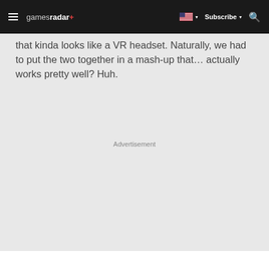gamesradar+ | Subscribe
that kinda looks like a VR headset. Naturally, we had to put the two together in a mash-up that… actually works pretty well? Huh.
Advertisement